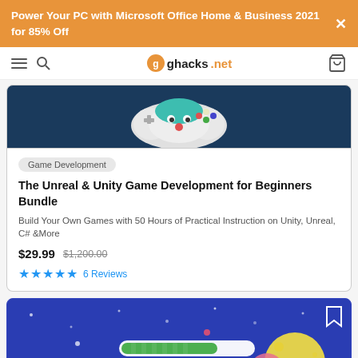Power Your PC with Microsoft Office Home & Business 2021 for 85% Off
[Figure (screenshot): ghacks.net website navigation bar with hamburger menu, search icon, logo and cart icon]
[Figure (illustration): Game controller illustration on dark blue background]
Game Development
The Unreal & Unity Game Development for Beginners Bundle
Build Your Own Games with 50 Hours of Practical Instruction on Unity, Unreal, C# &More
$29.99  $1,200.00
★★★★★  6 Reviews
[Figure (illustration): Dark blue illustrated card showing a loading bar, browser window and planets/space elements]